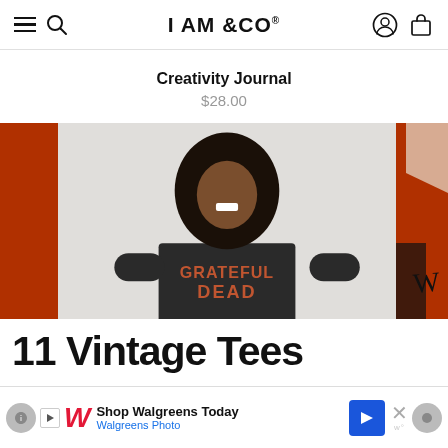I AM &CO
Creativity Journal
$28.00
[Figure (photo): Woman wearing a dark Grateful Dead graphic t-shirt, smiling, with curly hair, against a white background flanked by orange/red painted panels]
11 Vintage Tees
Shop Walgreens Today
Walgreens Photo